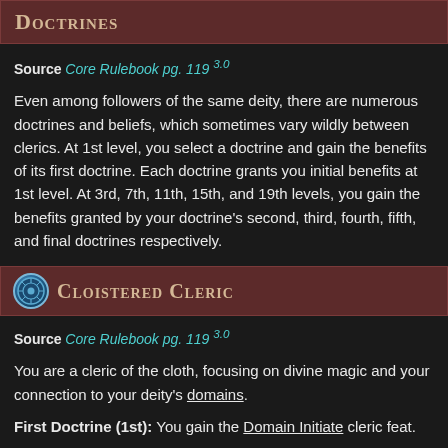Doctrines
Source Core Rulebook pg. 119 3.0
Even among followers of the same deity, there are numerous doctrines and beliefs, which sometimes vary wildly between clerics. At 1st level, you select a doctrine and gain the benefits of its first doctrine. Each doctrine grants you initial benefits at 1st level. At 3rd, 7th, 11th, 15th, and 19th levels, you gain the benefits granted by your doctrine's second, third, fourth, fifth, and final doctrines respectively.
Cloistered Cleric
Source Core Rulebook pg. 119 3.0
You are a cleric of the cloth, focusing on divine magic and your connection to your deity's domains.
First Doctrine (1st): You gain the Domain Initiate cleric feat.